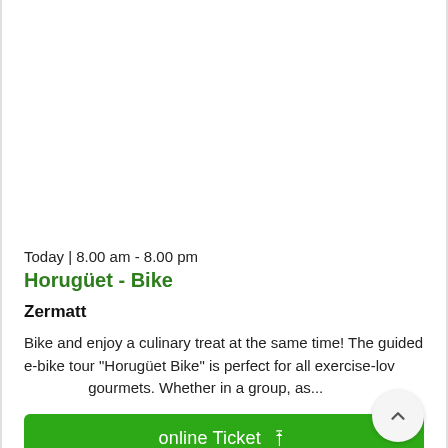Today | 8.00 am - 8.00 pm
Horugüet - Bike
Zermatt
Bike and enjoy a culinary treat at the same time! The guided e-bike tour "Horugüet Bike" is perfect for all exercise-loving gourmets. Whether in a group, as...
online Ticket  🡥